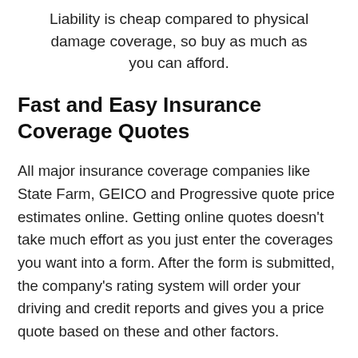Liability is cheap compared to physical damage coverage, so buy as much as you can afford.
Fast and Easy Insurance Coverage Quotes
All major insurance coverage companies like State Farm, GEICO and Progressive quote price estimates online. Getting online quotes doesn't take much effort as you just enter the coverages you want into a form. After the form is submitted, the company's rating system will order your driving and credit reports and gives you a price quote based on these and other factors.
Being able to quote online makes it a lot easier to compare rates but the time it takes to visit a lot of